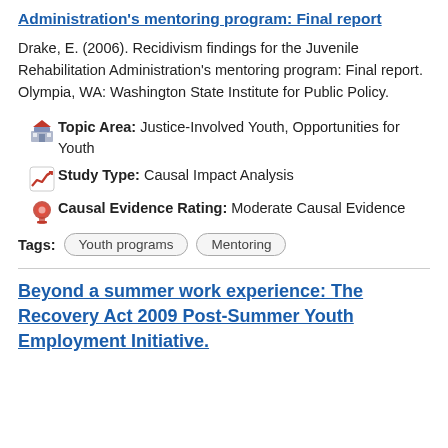Administration's mentoring program: Final report
Drake, E. (2006). Recidivism findings for the Juvenile Rehabilitation Administration's mentoring program: Final report. Olympia, WA: Washington State Institute for Public Policy.
Topic Area: Justice-Involved Youth, Opportunities for Youth
Study Type: Causal Impact Analysis
Causal Evidence Rating: Moderate Causal Evidence
Tags: Youth programs  Mentoring
Beyond a summer work experience: The Recovery Act 2009 Post-Summer Youth Employment Initiative.